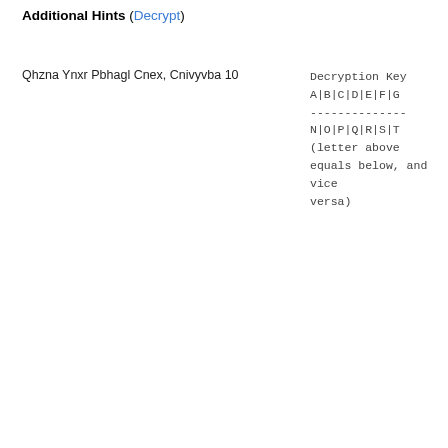Additional Hints (Decrypt)
Qhzna Ynxr Pbhagl Cnex, Cnivyvba 10
Decryption Key
A|B|C|D|E|F|G
--------------
N|O|P|Q|R|S|T
(letter above equals below, and vice versa)